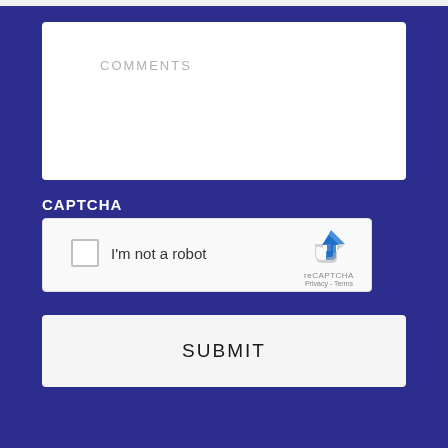COMMENTS
[Figure (screenshot): reCAPTCHA widget with checkbox labeled 'I'm not a robot' and the reCAPTCHA logo with Privacy and Terms links]
CAPTCHA
SUBMIT